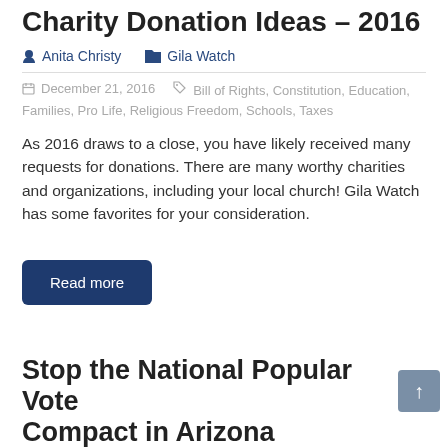Charity Donation Ideas – 2016
Anita Christy   Gila Watch
December 21, 2016   Bill of Rights, Constitution, Education, Families, Pro Life, Religious Freedom, Schools, Taxes
As 2016 draws to a close, you have likely received many requests for donations.  There are many worthy charities and organizations, including your local church!  Gila Watch has some favorites for your consideration.
Read more
Stop the National Popular Vote Compact in Arizona